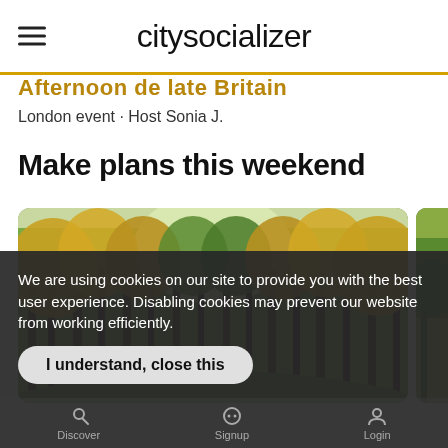citysocializer
Afternoon de late Britain
London event · Host Sonia J.
Make plans this weekend
[Figure (photo): Autumn forest path with golden and green trees lining both sides]
We are using cookies on our site to provide you with the best user experience. Disabling cookies may prevent our website from working efficiently.
I understand, close this
Discover  Signup  Login